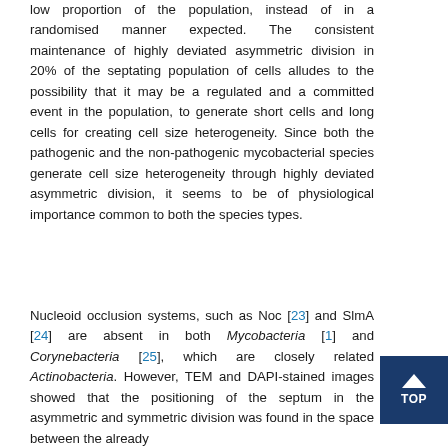low proportion of the population, instead of in a randomised manner expected. The consistent maintenance of highly deviated asymmetric division in 20% of the septating population of cells alludes to the possibility that it may be a regulated and a committed event in the population, to generate short cells and long cells for creating cell size heterogeneity. Since both the pathogenic and the non-pathogenic mycobacterial species generate cell size heterogeneity through highly deviated asymmetric division, it seems to be of physiological importance common to both the species types.
Nucleoid occlusion systems, such as Noc [23] and SlmA [24] are absent in both Mycobacteria [1] and Corynebacteria [25], which are closely related Actinobacteria. However, TEM and DAPI-stained images showed that the positioning of the septum in the asymmetric and symmetric division was found in the space between the already